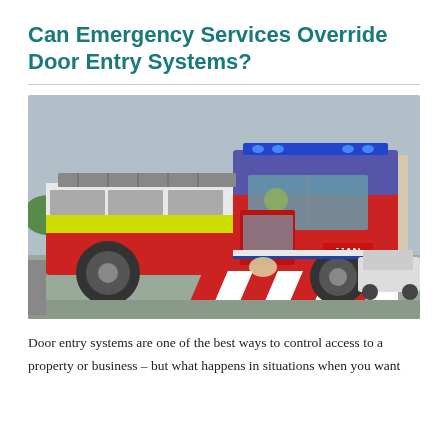Can Emergency Services Override Door Entry Systems?
[Figure (photo): A red MAN fire engine / fire truck with yellow and red chevron markings, blue lights on top, driving on a road. The truck belongs to a fire and rescue service.]
Door entry systems are one of the best ways to control access to a property or business – but what happens in situations when you want